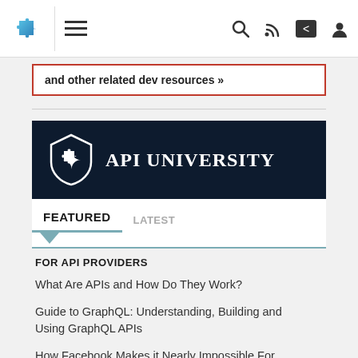Navigation bar with puzzle logo, hamburger menu, search, RSS, share, and user icons
and other related dev resources »
[Figure (logo): API University logo — dark navy background with white shield containing a puzzle piece icon, and bold white serif text 'API UNIVERSITY']
FEATURED   LATEST
FOR API PROVIDERS
What Are APIs and How Do They Work?
Guide to GraphQL: Understanding, Building and Using GraphQL APIs
How Facebook Makes it Nearly Impossible For You To Quit